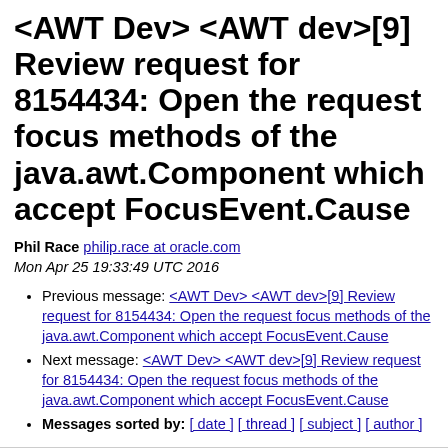<AWT Dev> <AWT dev>[9] Review request for 8154434: Open the request focus methods of the java.awt.Component which accept FocusEvent.Cause
Phil Race philip.race at oracle.com
Mon Apr 25 19:33:49 UTC 2016
Previous message: <AWT Dev> <AWT dev>[9] Review request for 8154434: Open the request focus methods of the java.awt.Component which accept FocusEvent.Cause
Next message: <AWT Dev> <AWT dev>[9] Review request for 8154434: Open the request focus methods of the java.awt.Component which accept FocusEvent.Cause
Messages sorted by: [ date ] [ thread ] [ subject ] [ author ]